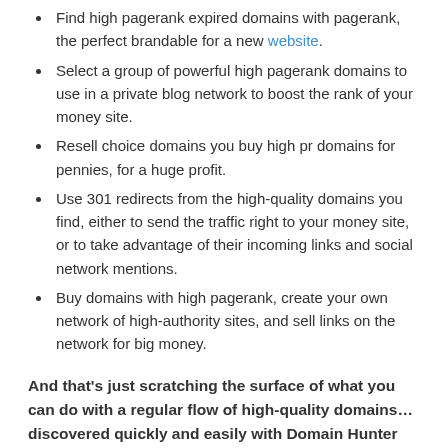Find high pagerank expired domains with pagerank, the perfect brandable for a new website.
Select a group of powerful high pagerank domains to use in a private blog network to boost the rank of your money site.
Resell choice domains you buy high pr domains for pennies, for a huge profit.
Use 301 redirects from the high-quality domains you find, either to send the traffic right to your money site, or to take advantage of their incoming links and social network mentions.
Buy domains with high pagerank, create your own network of high-authority sites, and sell links on the network for big money.
And that's just scratching the surface of what you can do with a regular flow of high-quality domains… discovered quickly and easily with Domain Hunter Gatherer!
This software is multi-threaded for maximum speed, returning